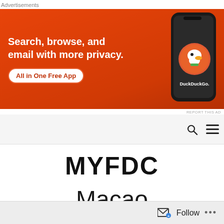Advertisements
[Figure (illustration): DuckDuckGo advertisement banner with orange background. Text: 'Search, browse, and email with more privacy. All in One Free App'. Shows a smartphone with DuckDuckGo logo and branding.]
REPORT THIS AD
MYFDC
Macao
International Air Mail is
Follow ...